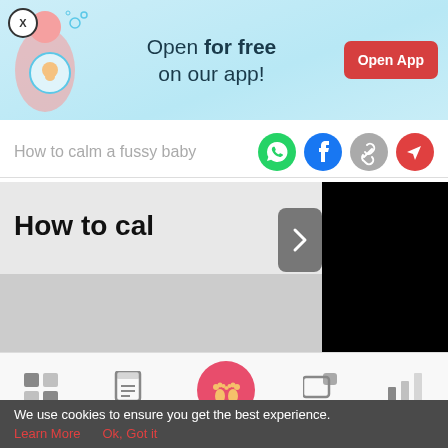[Figure (screenshot): App promotion banner with illustration of pregnant woman, text 'Open for free on our app!' and red Open App button]
How to calm a fussy baby
[Figure (illustration): Social share icons: WhatsApp (green), Facebook (blue), link copy (grey), share (red)]
How to cal
[Figure (photo): Article image partially visible, with black overlay on right side]
[Figure (screenshot): Bottom navigation bar with Tools, Articles, center baby feet icon, Feed, Poll]
We use cookies to ensure you get the best experience.
Learn More   Ok, Got it